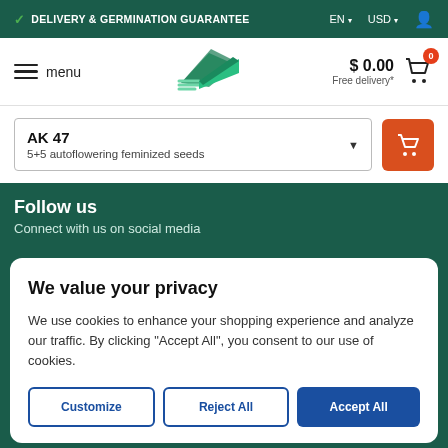✓ DELIVERY & GERMINATION GUARANTEE   EN ▾   USD ▾   👤
[Figure (screenshot): Navigation bar with hamburger menu, 'menu' text, green leaf logo, cart showing $0.00 and Free delivery*]
AK 47 5+5 autoflowering feminized seeds
Follow us
Connect with us on social media
We value your privacy
We use cookies to enhance your shopping experience and analyze our traffic. By clicking "Accept All", you consent to our use of cookies.
Customize
Reject All
Accept All